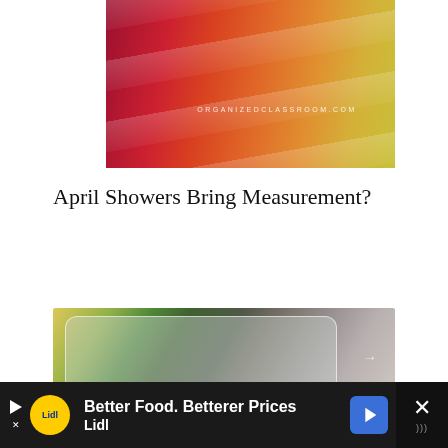[Figure (photo): Colorful rainbow umbrella panels in red, orange, and yellow with reflective plastic texture. Watermark reads ORGANIZEDCLASSROOM.COM]
April Showers Bring Measurement?
[Figure (photo): Blurry background with a frosted glass panel overlay and a right-pointing arrow, suggesting a slideshow or interactive element]
[Figure (photo): Advertisement bar: Lidl ad reading 'Better Food. Betterer Prices / Lidl']